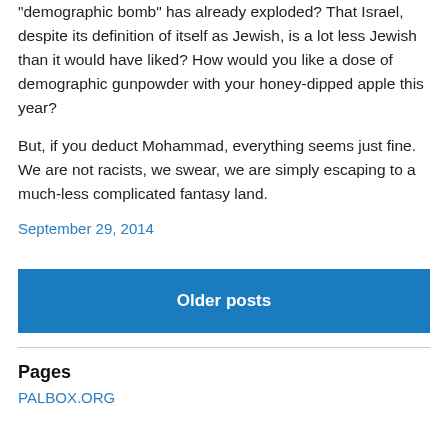“demographic bomb” has already exploded? That Israel, despite its definition of itself as Jewish, is a lot less Jewish than it would have liked? How would you like a dose of demographic gunpowder with your honey-dipped apple this year?
But, if you deduct Mohammad, everything seems just fine. We are not racists, we swear, we are simply escaping to a much-less complicated fantasy land.
September 29, 2014
Older posts
Pages
PALBOX.ORG